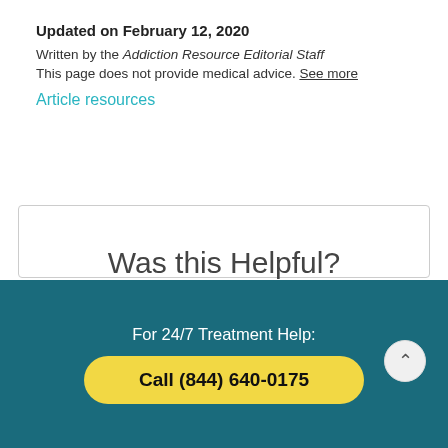Updated on February 12, 2020
Written by the Addiction Resource Editorial Staff
This page does not provide medical advice. See more
Article resources
[Figure (other): Was this Helpful? feedback card with Yes and No buttons]
For 24/7 Treatment Help:
Call (844) 640-0175